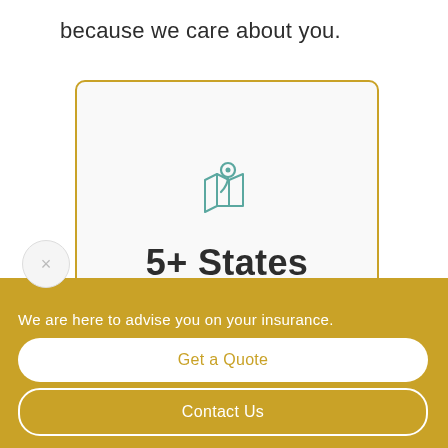because we care about you.
[Figure (infographic): A card with a teal map pin / location icon above bold text '5+ States' and subtitle 'licensed in', framed with a gold border]
We are here to advise you on your insurance.
Get a Quote
Contact Us